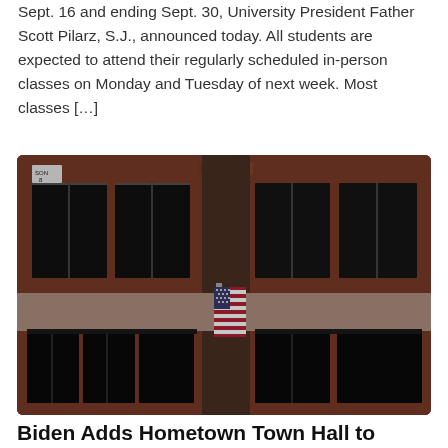Sept. 16 and ending Sept. 30, University President Father Scott Pilarz, S.J., announced today. All students are expected to attend their regularly scheduled in-person classes on Monday and Tuesday of next week. Most classes […]
[Figure (photo): Exterior of a red-brick multi-story building with large dark windows and an American flag hanging vertically between upper and lower windows. A street sign reading 'SON 8' is visible in the upper-left corner.]
Biden Adds Hometown Town Hall to Campaign Trail